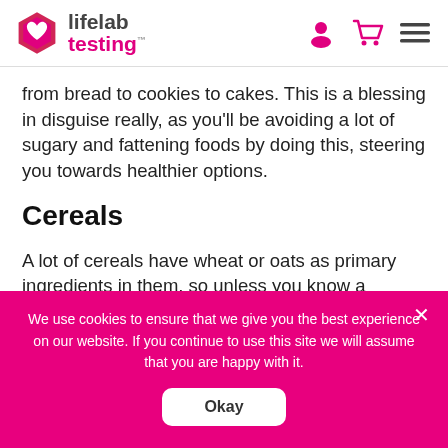lifelab testing
from bread to cookies to cakes. This is a blessing in disguise really, as you'll be avoiding a lot of sugary and fattening foods by doing this, steering you towards healthier options.
Cereals
A lot of cereals have wheat or oats as primary ingredients in them, so unless you know a specific brand that's gluten-free (and not
We use cookies to ensure that we give you the best experience on our website. If you continue to use this site we will assume that you are happy with it.